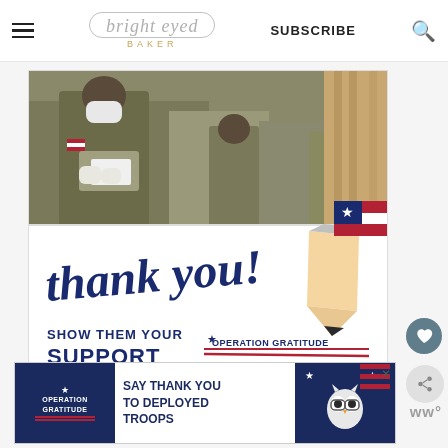bright eyed BAKER | SUBSCRIBE
[Figure (photo): Composite image: top half shows military soldiers in camouflage and masks looking at papers; bottom half shows cursive 'thank you!' text with a patriotic pencil graphic and text 'SHOW THEM YOUR SUPPORT OPERATION GRATITUDE']
[Figure (infographic): Operation Gratitude advertisement banner: 'SAY THANK YOU TO DEPLOYED TROOPS' with Operation Gratitude logo and patriotic imagery]